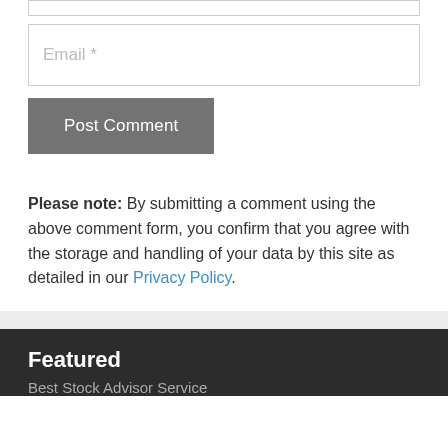Email *
Post Comment
Please note: By submitting a comment using the above comment form, you confirm that you agree with the storage and handling of your data by this site as detailed in our Privacy Policy.
Featured
Best Stock Advisor Service